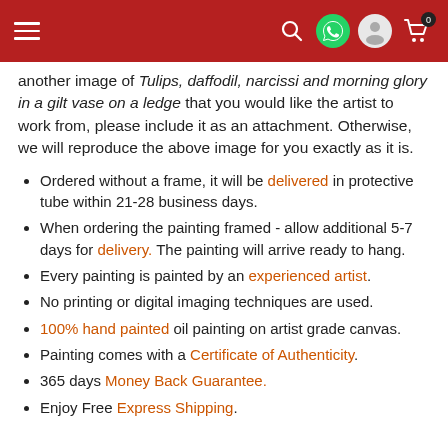Navigation bar with menu, search, WhatsApp, account, and cart (0) icons
another image of Tulips, daffodil, narcissi and morning glory in a gilt vase on a ledge that you would like the artist to work from, please include it as an attachment. Otherwise, we will reproduce the above image for you exactly as it is.
Ordered without a frame, it will be delivered in protective tube within 21-28 business days.
When ordering the painting framed - allow additional 5-7 days for delivery. The painting will arrive ready to hang.
Every painting is painted by an experienced artist.
No printing or digital imaging techniques are used.
100% hand painted oil painting on artist grade canvas.
Painting comes with a Certificate of Authenticity.
365 days Money Back Guarantee.
Enjoy Free Express Shipping.